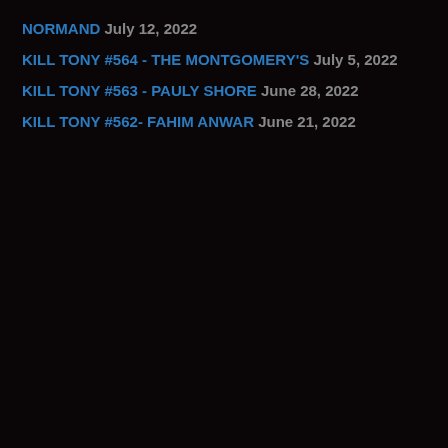NORMAND July 12, 2022
KILL TONY #564 - THE MONTGOMERY'S July 5, 2022
KILL TONY #563 - PAULY SHORE June 28, 2022
KILL TONY #562- FAHIM ANWAR June 21, 2022